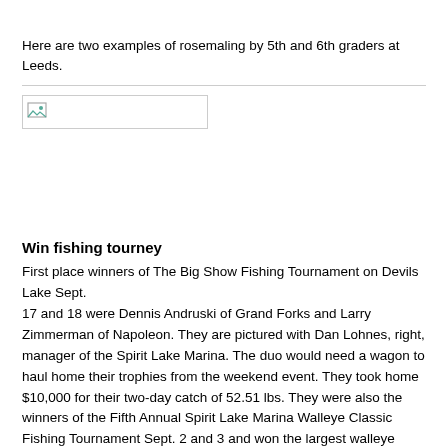Here are two examples of rosemaling by 5th and 6th graders at Leeds.
[Figure (photo): Broken image placeholder showing a small image icon in a bordered box]
Win fishing tourney
First place winners of The Big Show Fishing Tournament on Devils Lake Sept. 17 and 18 were Dennis Andruski of Grand Forks and Larry Zimmerman of Napoleon. They are pictured with Dan Lohnes, right, manager of the Spirit Lake Marina. The duo would need a wagon to haul home their trophies from the weekend event. They took home $10,000 for their two-day catch of 52.51 lbs. They were also the winners of the Fifth Annual Spirit Lake Marina Walleye Classic Fishing Tournament Sept. 2 and 3 and won the largest walleye award with a weight of 8.15 lbs. Thirty-seven teams participated in the tournament.